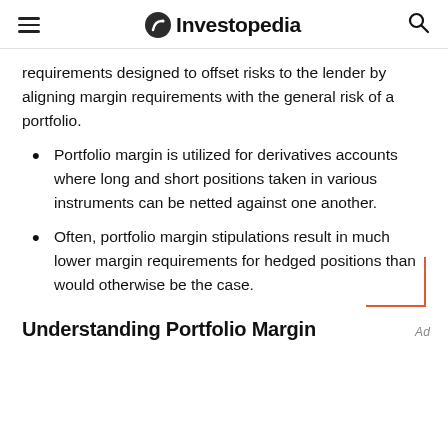Investopedia
requirements designed to offset risks to the lender by aligning margin requirements with the general risk of a portfolio.
Portfolio margin is utilized for derivatives accounts where long and short positions taken in various instruments can be netted against one another.
Often, portfolio margin stipulations result in much lower margin requirements for hedged positions than would otherwise be the case.
Understanding Portfolio Margin